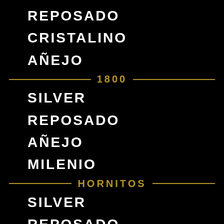REPOSADO
CRISTALINO
AÑEJO
1800
SILVER
REPOSADO
AÑEJO
MILENIO
HORNITOS
SILVER
REPOSADO
CASA NOBLE
SILVER
REPOSADO